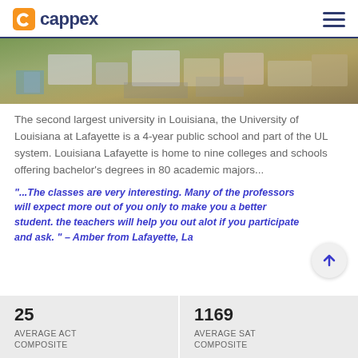cappex
[Figure (photo): Aerial view of a university campus with buildings, trees, and grounds]
The second largest university in Louisiana, the University of Louisiana at Lafayette is a 4-year public school and part of the UL system. Louisiana Lafayette is home to nine colleges and schools offering bachelor's degrees in 80 academic majors...
“...The classes are very interesting. Many of the professors will expect more out of you only to make you a better student. the teachers will help you out alot if you participate and ask. ” – Amber from Lafayette, La
| AVERAGE ACT COMPOSITE | AVERAGE SAT COMPOSITE |
| --- | --- |
| 25 | 1169 |